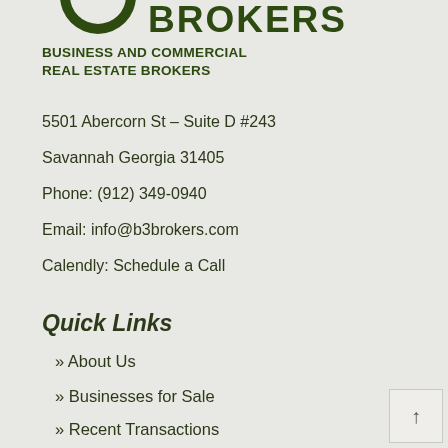[Figure (logo): Partial green circle logo and BROKERS text in dark green at top of page]
BUSINESS AND COMMERCIAL REAL ESTATE BROKERS
5501 Abercorn St – Suite D #243
Savannah Georgia 31405
Phone: (912) 349-0940
Email: info@b3brokers.com
Calendly: Schedule a Call
Quick Links
» About Us
» Businesses for Sale
» Recent Transactions